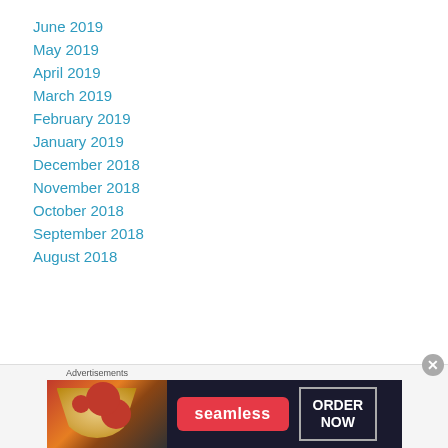June 2019
May 2019
April 2019
March 2019
February 2019
January 2019
December 2018
November 2018
October 2018
September 2018
August 2018
Advertisements
[Figure (other): Seamless food delivery advertisement banner with pizza image, Seamless logo in red, and ORDER NOW button]